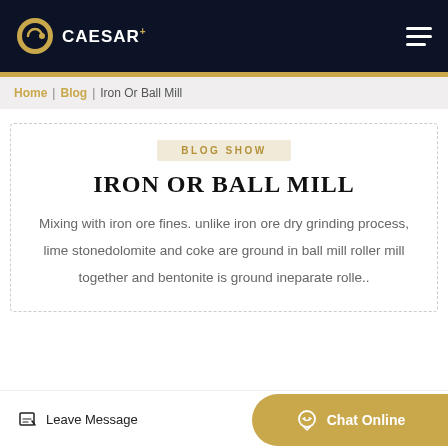CAESAR+
Home | Blog | Iron Or Ball Mill
BLOG SHOW
IRON OR BALL MILL
Mixing with iron ore fines. unlike iron ore dry grinding process, lime stonedolomite and coke are ground in ball mill roller mill together and bentonite is ground ineparate rolle..
Leave Message
Chat Online